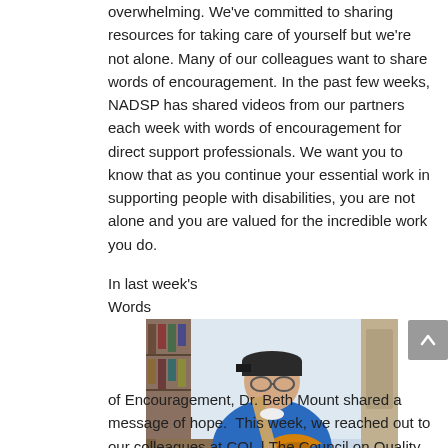overwhelming. We've committed to sharing resources for taking care of yourself but we're not alone. Many of our colleagues want to share words of encouragement. In the past few weeks, NADSP has shared videos from our partners each week with words of encouragement for direct support professionals. We want you to know that as you continue your essential work in supporting people with disabilities, you are not alone and you are valued for the incredible work you do.
[Figure (photo): A man wearing a blue sweater and a dark cap, sitting and playing an acoustic guitar indoors.]
In last week's Words of Encouragement, Dr. Beth Mount shared a message of hope. This week, we reached out to our colleagues at CQL | The Council on Quality and